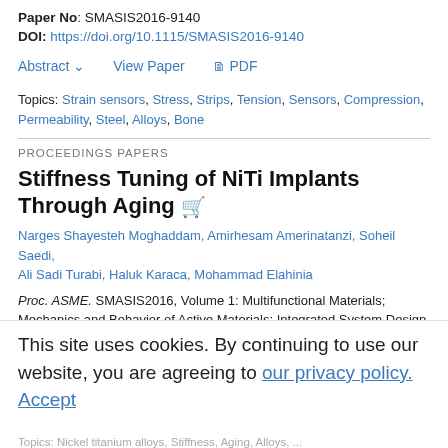Paper No: SMASIS2016-9140
DOI: https://doi.org/10.1115/SMASIS2016-9140
Abstract  View Paper  PDF
Topics: Strain sensors, Stress, Strips, Tension, Sensors, Compression, Permeability, Steel, Alloys, Bone
PROCEEDINGS PAPERS
Stiffness Tuning of NiTi Implants Through Aging
Narges Shayesteh Moghaddam, Amirhesam Amerinatanzi, Soheil Saedi, Ali Sadi Turabi, Haluk Karaca, Mohammad Elahinia
Proc. ASME. SMASIS2016, Volume 1: Multifunctional Materials; Mechanics and Behavior of Active Materials; Integrated System Design and Implementation; Structural Health Monitoring, V001T02A014, September 28–30, 2016
Paper No: SMASIS2016-9289
This site uses cookies. By continuing to use our website, you are agreeing to our privacy policy. Accept
Topics: Nickel titanium alloys, Stiffness, Aging, Alloys, ...